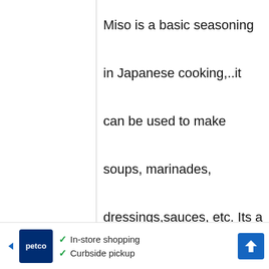Miso is a basic seasoning in Japanese cooking,..it can be used to make soups, marinades, dressings,sauces, etc. Its a very versatile ingredient! Just like...butter! But then!! you could say that a cucumber for a japanese is the
[Figure (other): Advertisement banner for Petco showing In-store shopping and Curbside pickup options with navigation icon]